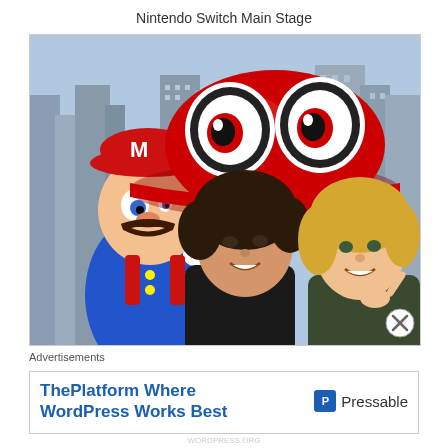Nintendo Switch Main Stage
[Figure (photo): Two young women posing in front of a Nintendo Mario Odyssey promotional backdrop featuring Mario character and a large red cap with cartoonish eyes (Cappy). City skyline visible in background. Both women are smiling and making peace signs.]
Advertisements
[Figure (other): Advertisement banner: ThePlatform Where WordPress Works Best — Pressable]